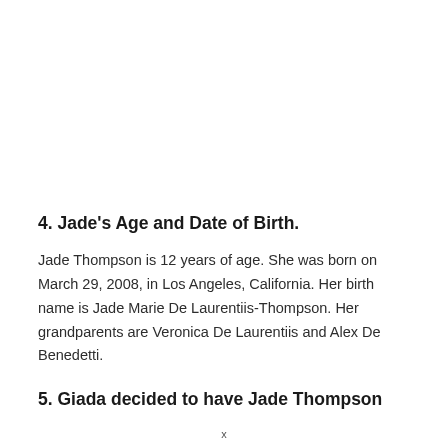4. Jade's Age and Date of Birth.
Jade Thompson is 12 years of age. She was born on March 29, 2008, in Los Angeles, California. Her birth name is Jade Marie De Laurentiis-Thompson. Her grandparents are Veronica De Laurentiis and Alex De Benedetti.
5. Giada decided to have Jade Thompson